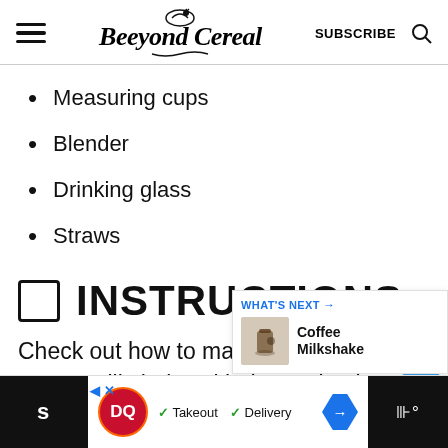Beeyond Cereal — SUBSCRIBE
Measuring cups
Blender
Drinking glass
Straws
INSTRUCTIONS
Check out how to make cooki cream milkshake with these simple
[Figure (other): WHAT'S NEXT — Coffee Milkshake promotional widget showing a coffee milkshake image]
[Figure (other): Advertisement bar: Dairy Queen (DQ) logo, Takeout, Delivery checkmarks, navigation arrow, and right dark panel]